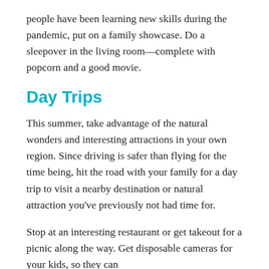people have been learning new skills during the pandemic, put on a family showcase. Do a sleepover in the living room—complete with popcorn and a good movie.
Day Trips
This summer, take advantage of the natural wonders and interesting attractions in your own region. Since driving is safer than flying for the time being, hit the road with your family for a day trip to visit a nearby destination or natural attraction you've previously not had time for.
Stop at an interesting restaurant or get takeout for a picnic along the way. Get disposable cameras for your kids, so they can